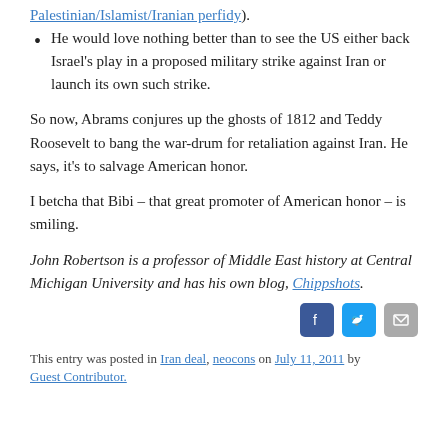Palestinian/Islamist/Iranian perfidy).
He would love nothing better than to see the US either back Israel's play in a proposed military strike against Iran or launch its own such strike.
So now, Abrams conjures up the ghosts of 1812 and Teddy Roosevelt to bang the war-drum for retaliation against Iran. He says, it’s to salvage American honor.
I betcha that Bibi – that great promoter of American honor – is smiling.
John Robertson is a professor of Middle East history at Central Michigan University and has his own blog, Chippshots.
[Figure (other): Social sharing icons: Facebook, Twitter, Email]
This entry was posted in Iran deal, neocons on July 11, 2011 by Guest Contributor.